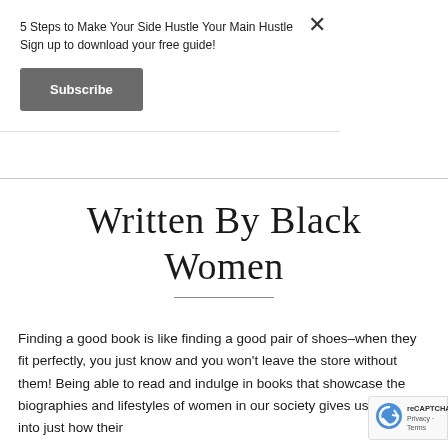5 Steps to Make Your Side Hustle Your Main Hustle Sign up to download your free guide!
Subscribe
Written By Black Women
Finding a good book is like finding a good pair of shoes–when they fit perfectly, you just know and you won't leave the store without them! Being able to read and indulge in books that showcase the biographies and lifestyles of women in our society gives us insight into just how their